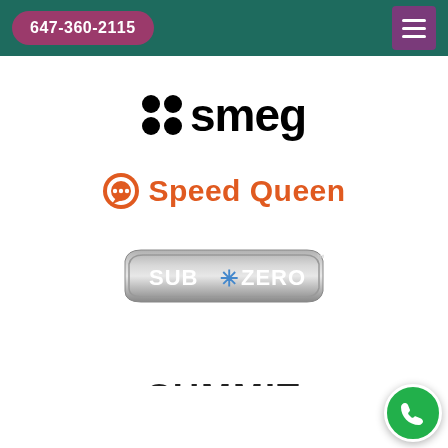647-360-2115
[Figure (logo): SMEG brand logo with four black circles arranged in 2x2 grid followed by the word 'smeg' in bold black lowercase letters]
[Figure (logo): Speed Queen brand logo with orange Q icon and orange bold text 'Speed Queen']
[Figure (logo): Sub-Zero brand logo in metallic grey badge shape with white text 'SUB*ZERO' and blue snowflake asterisk]
[Figure (logo): Summit brand logo partially visible at bottom of page, dark stylized text]